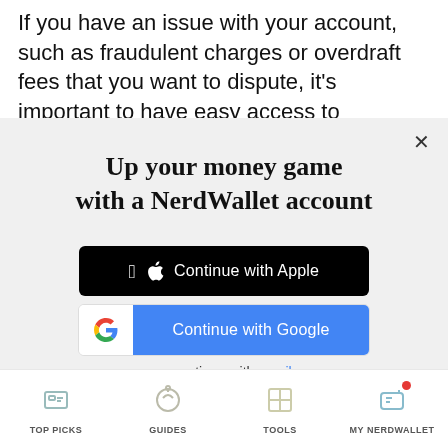If you have an issue with your account, such as fraudulent charges or overdraft fees that you want to dispute, it's important to have easy access to
[Figure (screenshot): NerdWallet account sign-up modal overlay with title 'Up your money game with a NerdWallet account', Apple sign-in button, Google sign-in button, email option, and terms of service text]
TOP PICKS | GUIDES | TOOLS | MY NERDWALLET